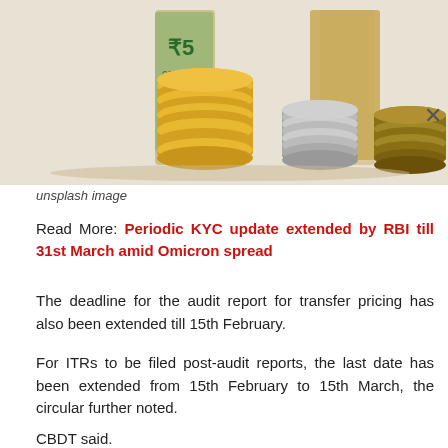[Figure (photo): Stacks of gold, silver, and dark coins arranged in front of Indian rupee banknotes on a light background.]
unsplash image
Read More: Periodic KYC update extended by RBI till 31st March amid Omicron spread
The deadline for the audit report for transfer pricing has also been extended till 15th February.
For ITRs to be filed post-audit reports, the last date has been extended from 15th February to 15th March, the circular further noted.
CBDT said.